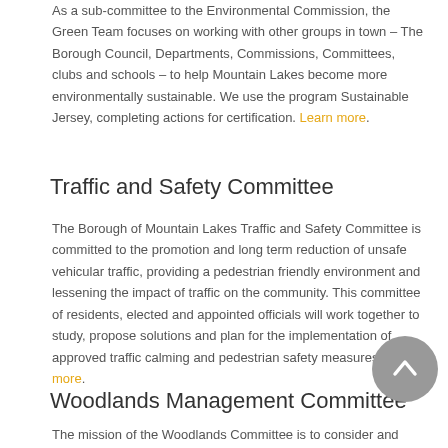As a sub-committee to the Environmental Commission, the Green Team focuses on working with other groups in town – The Borough Council, Departments, Commissions, Committees, clubs and schools – to help Mountain Lakes become more environmentally sustainable. We use the program Sustainable Jersey, completing actions for certification. Learn more.
Traffic and Safety Committee
The Borough of Mountain Lakes Traffic and Safety Committee is committed to the promotion and long term reduction of unsafe vehicular traffic, providing a pedestrian friendly environment and lessening the impact of traffic on the community. This committee of residents, elected and appointed officials will work together to study, propose solutions and plan for the implementation of approved traffic calming and pedestrian safety measures. Learn more.
Woodlands Management Committee
The mission of the Woodlands Committee is to consider and recommend to the Council such actions as may be